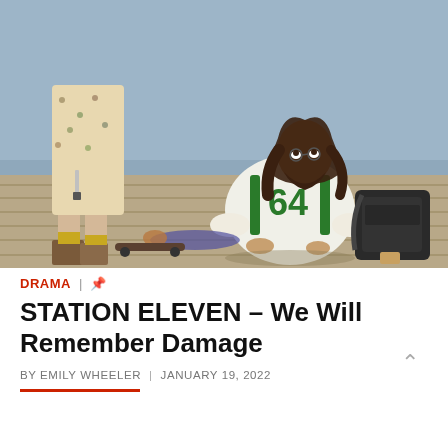[Figure (photo): A scene from Station Eleven: a woman in a floral dress holding a knife stands over a man in a green and white #64 jersey sitting cross-legged on a dock, looking up. A black backpack is visible to the right. A body appears to be lying in the background on the dock.]
DRAMA | 📌
STATION ELEVEN – We Will Remember Damage
BY EMILY WHEELER | JANUARY 19, 2022